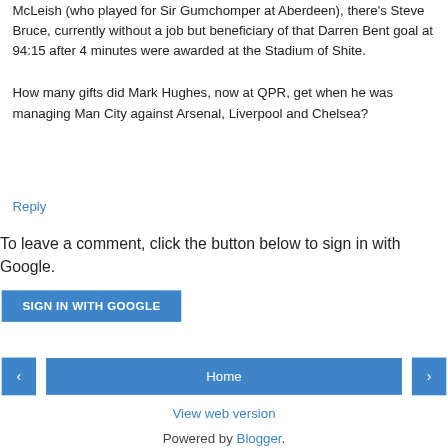McLeish (who played for Sir Gumchomper at Aberdeen), there's Steve Bruce, currently without a job but beneficiary of that Darren Bent goal at 94:15 after 4 minutes were awarded at the Stadium of Shite.
How many gifts did Mark Hughes, now at QPR, get when he was managing Man City against Arsenal, Liverpool and Chelsea?
Reply
To leave a comment, click the button below to sign in with Google.
SIGN IN WITH GOOGLE
Home
View web version
Powered by Blogger.